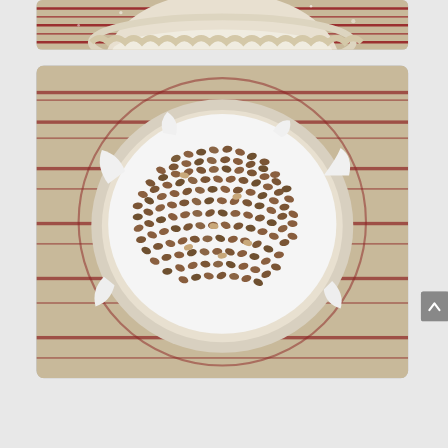[Figure (photo): Top partial photo showing a white ceramic pie dish with crimped edges on a red and beige striped silicone baking mat, with flour dusting visible. Only the bottom portion of the dish is visible.]
[Figure (photo): Overhead photo of a pie dish lined with white parchment paper and filled with dried wheat berries or pie weights (small brown oval seeds/beans), used for blind baking. The dish sits on a red and beige striped silicone baking mat.]